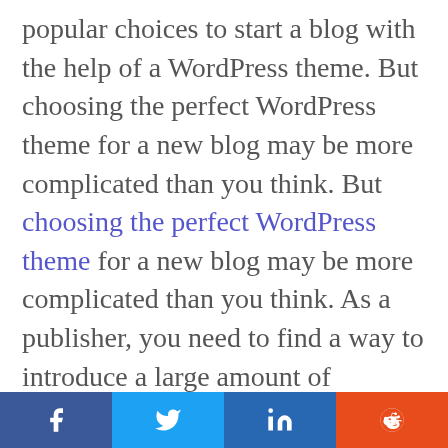popular choices to start a blog with the help of a WordPress theme. But choosing the perfect WordPress theme for a new blog may be more complicated than you think. But choosing the perfect WordPress theme for a new blog may be more complicated than you think. As a publisher, you need to find a way to introduce a large amount of information on a single screen, while you also want to display your content in an attractive way. So now it's time for you to choose a
[Figure (infographic): Social sharing bar with Facebook (dark blue), Twitter (light blue), LinkedIn (blue), and Reddit (orange) buttons at the bottom of the page]